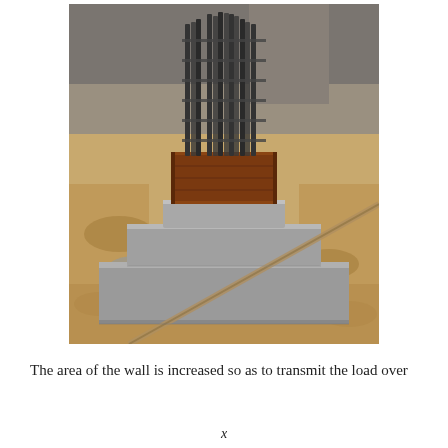[Figure (photo): Construction site photo showing a stepped concrete column footing/pedestal under construction. The base consists of two stepped concrete pads (larger square at bottom, smaller square on top), with a wooden formwork box on top and vertical steel reinforcement bars (rebar cage) protruding upward. Sandy excavated soil surrounds the structure.]
The area of the wall is increased so as to transmit the load over
x